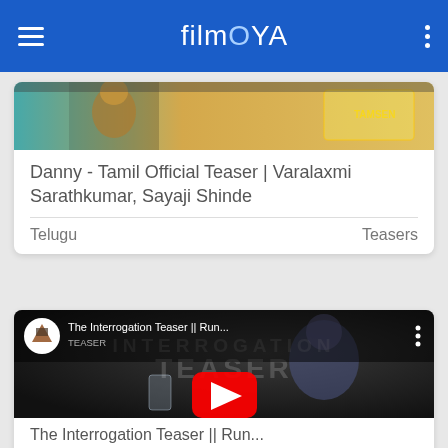filmOYA
Danny - Tamil Official Teaser | Varalaxmi Sarathkumar, Sayaji Shinde
Telugu   Teasers
[Figure (screenshot): YouTube video thumbnail for The Interrogation Teaser with play button, dark scene with man and glass of water, Runway Bee channel logo]
The Interrogation Teaser || Run...